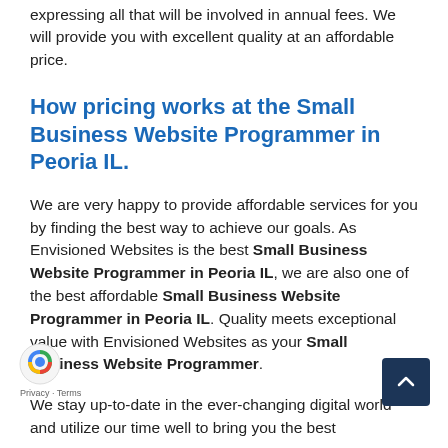expressing all that will be involved in annual fees. We will provide you with excellent quality at an affordable price.
How pricing works at the Small Business Website Programmer in Peoria IL.
We are very happy to provide affordable services for you by finding the best way to achieve our goals. As Envisioned Websites is the best Small Business Website Programmer in Peoria IL, we are also one of the best affordable Small Business Website Programmer in Peoria IL. Quality meets exceptional value with Envisioned Websites as your Small Business Website Programmer.
We stay up-to-date in the ever-changing digital world and utilize our time well to bring you the best